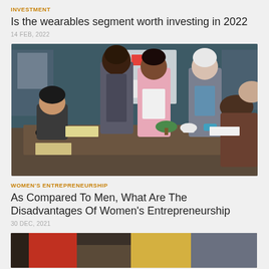INVESTMENT
Is the wearables segment worth investing in 2022
14 FEB, 2022
[Figure (photo): Group of business professionals in a meeting room, with a woman in pink blazer presenting, others listening around a table with materials and a whiteboard in background.]
WOMEN'S ENTREPRENEURSHIP
As Compared To Men, What Are The Disadvantages Of Women's Entrepreneurship
30 DEC, 2021
[Figure (photo): Partial view of a photo showing people, cropped at bottom of page.]